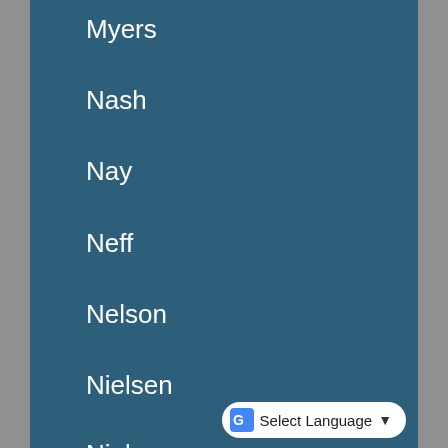Myers
Nash
Nay
Neff
Nelson
Nielsen
Nielson
Odekirk
Olsen